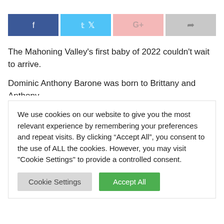[Figure (other): Social share buttons: Facebook (blue), Twitter (light blue), Google+ (light pink), Share (gray)]
The Mahoning Valley's first baby of 2022 couldn't wait to arrive.
Dominic Anthony Barone was born to Brittany and Anthony Barone of Austintown at St. Elizabeth Boardman Hospital
We use cookies on our website to give you the most relevant experience by remembering your preferences and repeat visits. By clicking "Accept All", you consent to the use of ALL the cookies. However, you may visit "Cookie Settings" to provide a controlled consent.
Cookie Settings | Accept All